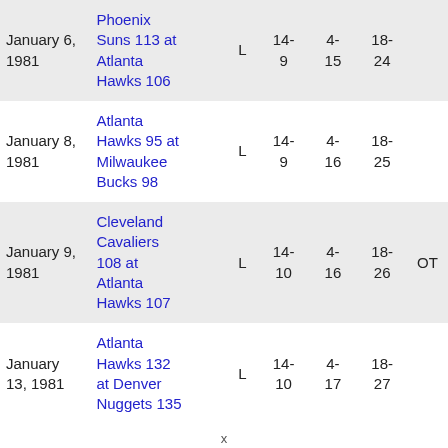| Date | Matchup | W/L | Rec1 | Rec2 | Rec3 | Notes |
| --- | --- | --- | --- | --- | --- | --- |
| January 6, 1981 | Phoenix Suns 113 at Atlanta Hawks 106 | L | 14-9 | 4-15 | 18-24 |  |
| January 8, 1981 | Atlanta Hawks 95 at Milwaukee Bucks 98 | L | 14-9 | 4-16 | 18-25 |  |
| January 9, 1981 | Cleveland Cavaliers 108 at Atlanta Hawks 107 | L | 14-10 | 4-16 | 18-26 | OT |
| January 13, 1981 | Atlanta Hawks 132 at Denver Nuggets 135 | L | 14-10 | 4-17 | 18-27 |  |